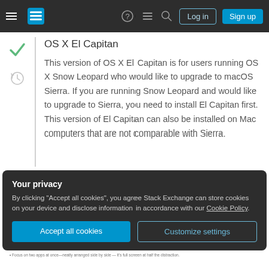Stack Exchange navigation bar with Log in and Sign up buttons
OS X El Capitan
This version of OS X El Capitan is for users running OS X Snow Leopard who would like to upgrade to macOS Sierra. If you are running Snow Leopard and would like to upgrade to Sierra, you need to install El Capitan first. This version of El Capitan can also be installed on Mac computers that are not comparable with Sierra.
Your privacy
By clicking "Accept all cookies", you agree Stack Exchange can store cookies on your device and disclose information in accordance with our Cookie Policy.
Accept all cookies
Customize settings